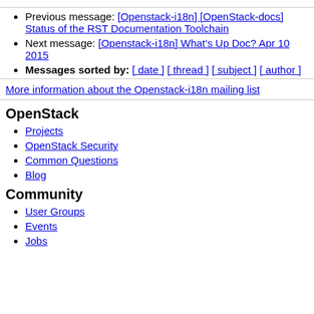Previous message: [Openstack-i18n] [OpenStack-docs] Status of the RST Documentation Toolchain
Next message: [Openstack-i18n] What's Up Doc? Apr 10 2015
Messages sorted by: [ date ] [ thread ] [ subject ] [ author ]
More information about the Openstack-i18n mailing list
OpenStack
Projects
OpenStack Security
Common Questions
Blog
Community
User Groups
Events
Jobs